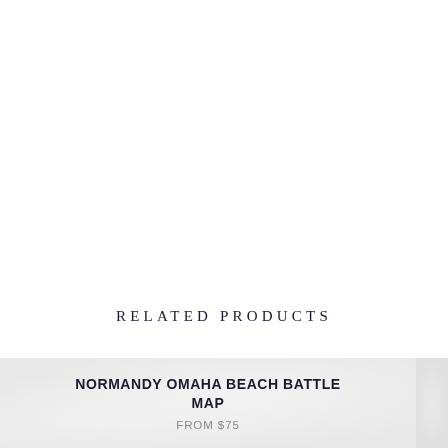RELATED PRODUCTS
NORMANDY OMAHA BEACH BATTLE MAP
FROM $75